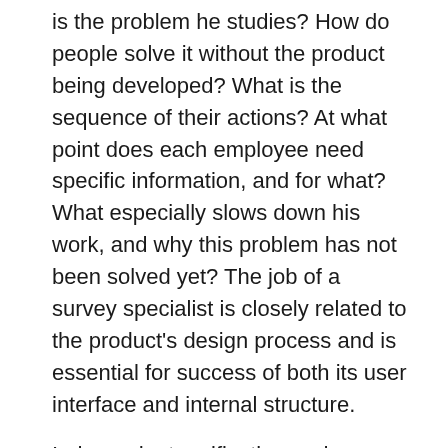is the problem he studies? How do people solve it without the product being developed? What is the sequence of their actions? At what point does each employee need specific information, and for what? What especially slows down his work, and why this problem has not been solved yet? The job of a survey specialist is closely related to the product's design process and is essential for success of both its user interface and internal structure.
Independent verification and validation services are necessary to ensure the best quality of software under development. Negligence of quality assurance practices may lead to a variety of problems while